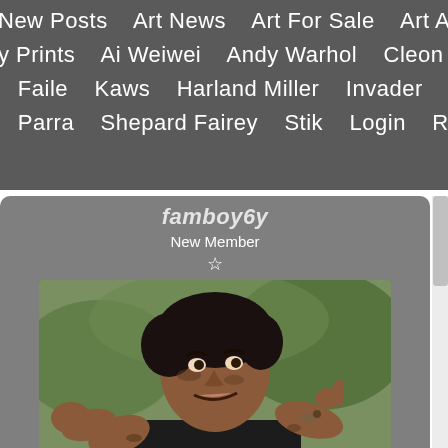New Posts   Art News   Art For Sale   Art A... y Prints   Ai Weiwei   Andy Warhol   Cleon...   Faile   Kaws   Harland Miller   Invader   Parra   Shepard Fairey   Stik   Login   Reg...
famboy6y (partial username)
New Member
[Figure (photo): Profile avatar photo of a muscular man with dark hair making a thumbs up gesture, resembling Rambo character]
Posts • 447
Likes • 242
May 2016
Anything in particular?
peder
May 3, 2018 at 7:16am